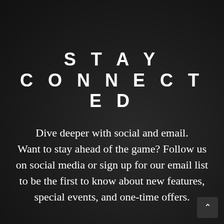STAY CONNECTED
Dive deeper with social and email. Want to stay ahead of the game? Follow us on social media or sign up for our email list to be the first to know about new features, special events, and one-time offers.